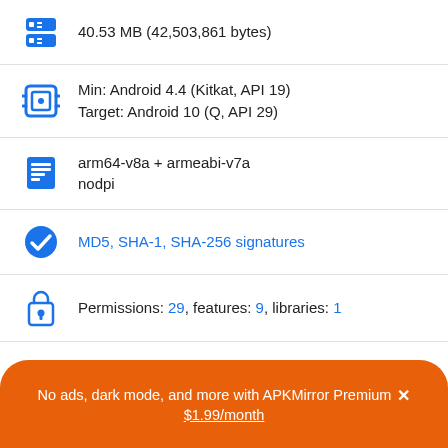40.53 MB (42,503,861 bytes)
Min: Android 4.4 (Kitkat, API 19)
Target: Android 10 (Q, API 29)
arm64-v8a + armeabi-v7a
nodpi
MD5, SHA-1, SHA-256 signatures
Permissions: 29, features: 9, libraries: 1
Uploaded April 20, 2021 at 7:21AM GMT+0000 by @thcom...
No ads, dark mode, and more with APKMirror Premium × $1.99/month